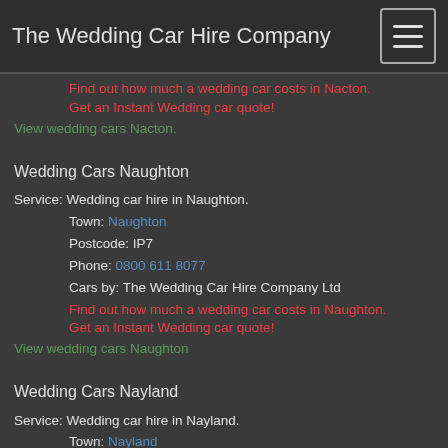The Wedding Car Hire Company
Find out how much a wedding car costs in Nacton. Get an Instant Wedding car quote!
View wedding cars Nacton.
Wedding Cars Naughton
Service: Wedding car hire in Naughton.
Town: Naughton
Postcode: IP7
Phone: 0800 611 8077
Cars by: The Wedding Car Hire Company Ltd
Find out how much a wedding car costs in Naughton. Get an Instant Wedding car quote!
View wedding cars Naughton
Wedding Cars Nayland
Service: Wedding car hire in Nayland.
Town: Nayland
Postcode: CO6
Phone: 0800 611 8077